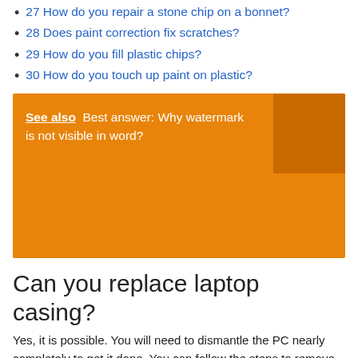27 How do you repair a stone chip on a bonnet?
28 Does paint correction fix scratches?
29 How do you fill plastic chips?
30 How do you touch up paint on plastic?
[Figure (infographic): Orange box with text: See also Best answer: Why watermark is not visible in word? with a darker orange square in top-right corner.]
Can you replace laptop casing?
Yes, it is possible. You will need to dismantle the PC nearly completely to get it done. You can follow the steps to remove system board and display assembly which will nearly remove all the parts.